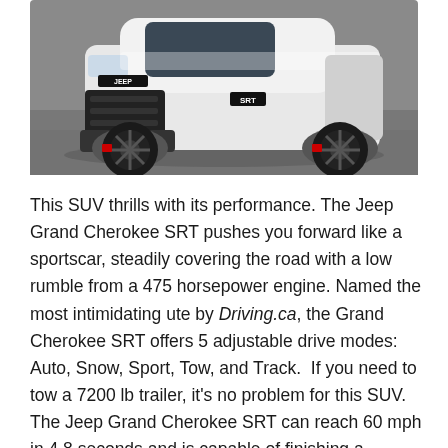[Figure (photo): White Jeep Grand Cherokee SRT SUV photographed from the front-left angle on a gray pavement surface, showing black wheels with red brake calipers.]
This SUV thrills with its performance. The Jeep Grand Cherokee SRT pushes you forward like a sportscar, steadily covering the road with a low rumble from a 475 horsepower engine. Named the most intimidating ute by Driving.ca, the Grand Cherokee SRT offers 5 adjustable drive modes:  Auto, Snow, Sport, Tow, and Track.  If you need to tow a 7200 lb trailer, it's no problem for this SUV. The Jeep Grand Cherokee SRT can reach 60 mph in 4.8 seconds and is capable of finishing a quarter-mile race within 13 seconds, which is outstanding for a 5150 lb SUV.